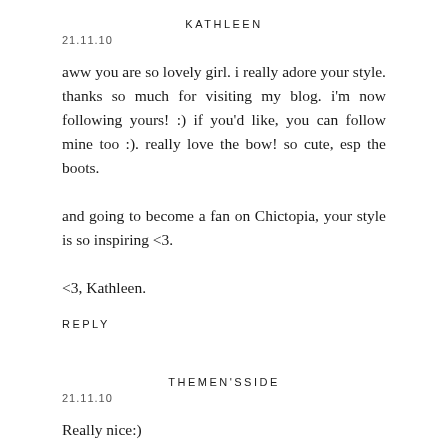KATHLEEN
21.11.10
aww you are so lovely girl. i really adore your style. thanks so much for visiting my blog. i'm now following yours! :) if you'd like, you can follow mine too :). really love the bow! so cute, esp the boots.

and going to become a fan on Chictopia, your style is so inspiring <3.

<3, Kathleen.
REPLY
THEMEN'SSIDE
21.11.10
Really nice:)
Greaty photos!
REPLY